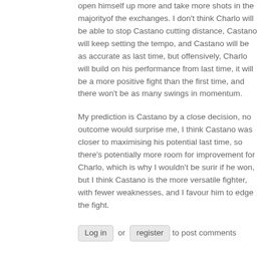open himself up more and take more shots in the majorityof the exchanges. I don't think Charlo will be able to stop Castano cutting distance, Castano will keep setting the tempo, and Castano will be as accurate as last time, but offensively, Charlo will build on his performance from last time, it will be a more positive fight than the first time, and there won't be as many swings in momentum.
My prediction is Castano by a close decision, no outcome would surprise me, I think Castano was closer to maximising his potential last time, so there's potentially more room for improvement for Charlo, which is why I wouldn't be surir if he won, but I think Castano is the more versatile fighter, with fewer weaknesses, and I favour him to edge the fight.
Log in or register to post comments